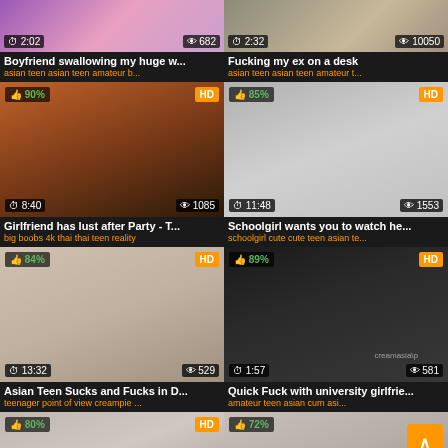[Figure (screenshot): Video thumbnail grid showing adult video listings with thumbnails, titles, tags, duration, view counts]
Boyfriend swallowing my huge w...
asian teen asian teen amateur b...
Fucking my ex on a desk
asian teen asian teen amateur t...
Girlfriend has lust after Party - T...
big boobs 4k thai thai teen reality
Schoolgirl wants you to watch he...
schoolgirl cute cute teen asian te...
Asian Teen Sucks and Fucks in D...
teenager point of view creampie ...
Quick Fuck with university girlfrie...
amateur teen asian cum asi...